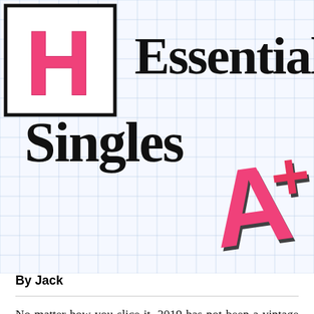[Figure (illustration): Header graphic for 'Essential Singles A+' article. A grid/graph-paper background in light blue. On the left is a hand-drawn style box with bold pink letter H inside. To the right in large bold black serif font: 'Essential Singles'. Below and to the right is a large hand-drawn style pink letter 'A+'.]
By Jack
No matter how you slice it, 2019 has not been a vintage year for pop. The gaudy pop bangers of yesteryear are out. Nihilistic minimalism and trap beats are in. Still, a few songs here and there are able to cut through the off…